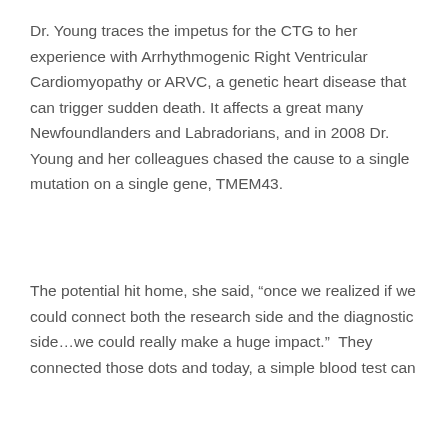Dr. Young traces the impetus for the CTG to her experience with Arrhythmogenic Right Ventricular Cardiomyopathy or ARVC, a genetic heart disease that can trigger sudden death. It affects a great many Newfoundlanders and Labradorians, and in 2008 Dr. Young and her colleagues chased the cause to a single mutation on a single gene, TMEM43.
The potential hit home, she said, “once we realized if we could connect both the research side and the diagnostic side…we could really make a huge impact.”  They connected those dots and today, a simple blood test can